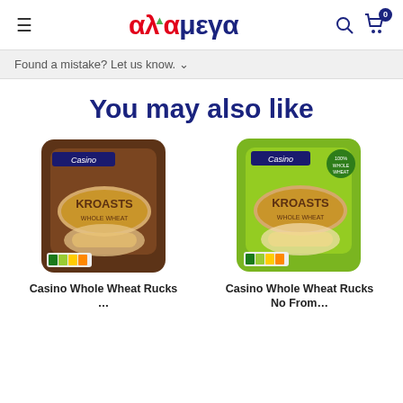αλφαμεγα — search and cart icons, hamburger menu, cart badge: 0
Found a mistake? Let us know. ▾
You may also like
[Figure (photo): Casino Kroasts whole wheat rusks in brown packaging]
[Figure (photo): Casino Kroasts whole wheat rusks in green packaging]
Casino Whole Wheat Rucks…
Casino Whole Wheat Rucks No From…